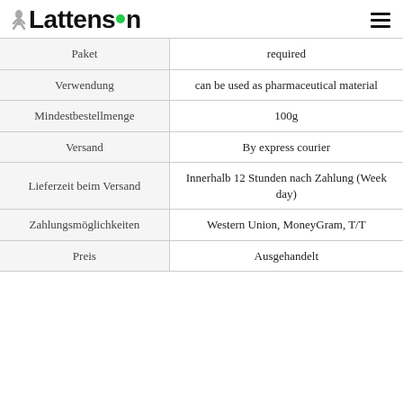[Figure (logo): Lattenson logo with figure icon and green dot, plus hamburger menu icon]
|  |  |
| --- | --- |
| Paket | required |
| Verwendung | can be used as pharmaceutical material |
| Mindestbestellmenge | 100g |
| Versand | By express courier |
| Lieferzeit beim Versand | Innerhalb 12 Stunden nach Zahlung (Week day) |
| Zahlungsmöglichkeiten | Western Union, MoneyGram, T/T |
| Preis | Ausgehandelt |